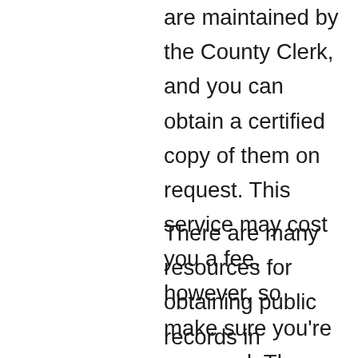are maintained by the County Clerk, and you can obtain a certified copy of them on request. This service may cost you a fee, however, so make sure you're prepared. The county clerk's office is open Monday through Friday. The Williamson courthouse is a great place to get your hands on these records.
There are many resources for obtaining public records in Williamson County. The Sheriff's Office's Office maintains the records of the county's citizens. The clerk's office also issues birth, marriage, and death